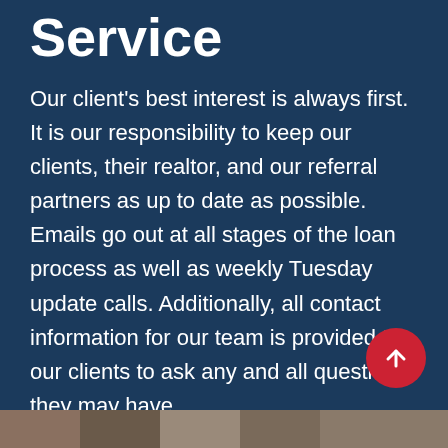Service
Our client's best interest is always first. It is our responsibility to keep our clients, their realtor, and our referral partners as up to date as possible. Emails go out at all stages of the loan process as well as weekly Tuesday update calls. Additionally, all contact information for our team is provided to our clients to ask any and all questions they may have.
[Figure (photo): Photo strip at the bottom of the page]